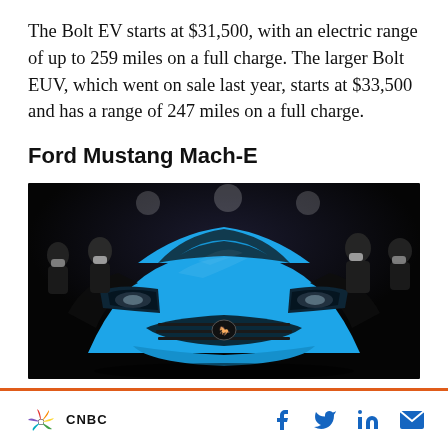The Bolt EV starts at $31,500, with an electric range of up to 259 miles on a full charge. The larger Bolt EUV, which went on sale last year, starts at $33,500 and has a range of 247 miles on a full charge.
Ford Mustang Mach-E
[Figure (photo): Front view of a blue Ford Mustang Mach-E electric vehicle on display at what appears to be an auto show, with several masked people visible in the background against a dark backdrop.]
CNBC logo with social sharing icons: Facebook, Twitter, LinkedIn, Email